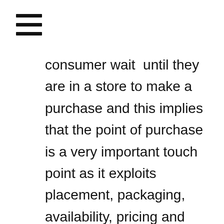[Figure (other): Hamburger menu icon with three horizontal lines]
consumer wait until they are in a store to make a purchase and this implies that the point of purchase is a very important touch point as it exploits placement, packaging, availability, pricing and sales interactions. Even when they are buying online, the user experience of the website will affect their decision.